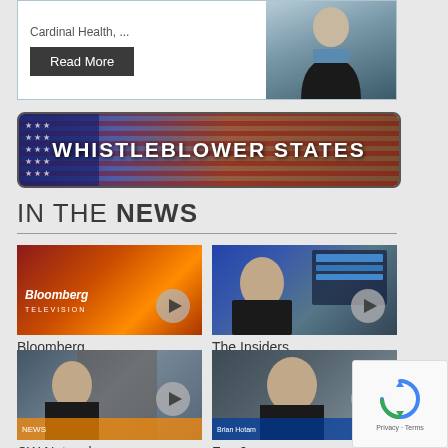[Figure (screenshot): Top banner with 'Cardinal Health...' text, Read More button, and person in dark suit]
[Figure (screenshot): Whistleblower States banner with American flag background]
IN THE NEWS
[Figure (screenshot): Bloomberg Television video thumbnail with play button]
Bloomberg
[Figure (screenshot): The Insiders video thumbnail with play button]
The Insiders
[Figure (screenshot): CW Network video thumbnail with play button]
CW Network
[Figure (screenshot): Fox 6 video thumbnail with play button]
Fox 6
[Figure (screenshot): reCAPTCHA widget with Privacy and Terms links]